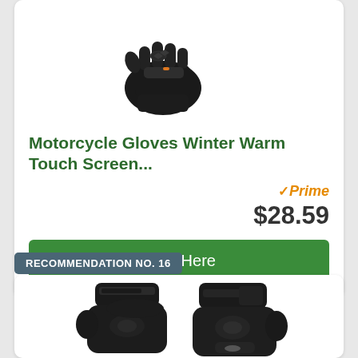[Figure (photo): Black motorcycle gloves product photo, top portion of card]
Motorcycle Gloves Winter Warm Touch Screen...
✓Prime
$28.59
View Here
RECOMMENDATION NO. 16
[Figure (photo): Black motorcycle mittens/gloves product photo, bottom card]